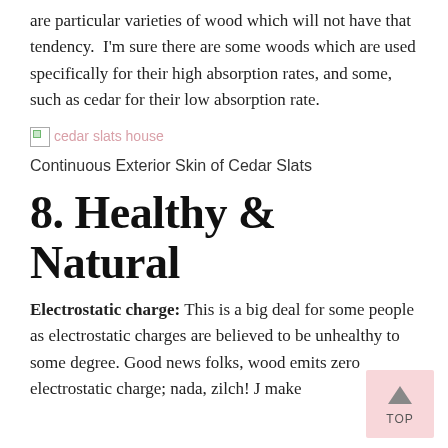are particular varieties of wood which will not have that tendency.  I'm sure there are some woods which are used specifically for their high absorption rates, and some, such as cedar for their low absorption rate.
[Figure (photo): Broken/missing image placeholder with alt text 'cedar slats house']
Continuous Exterior Skin of Cedar Slats
8. Healthy & Natural
Electrostatic charge: This is a big deal for some people as electrostatic charges are believed to be unhealthy to some degree. Good news folks, wood emits zero electrostatic charge; nada, zilch! J make